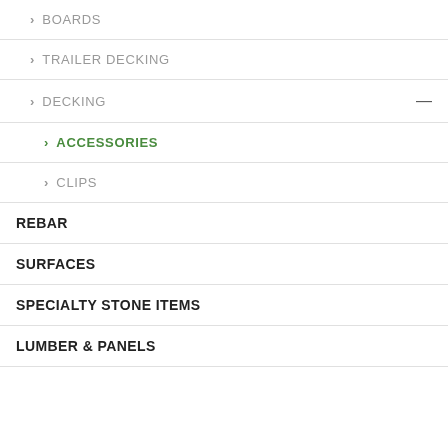BOARDS
TRAILER DECKING
DECKING
ACCESSORIES
CLIPS
REBAR
SURFACES
SPECIALTY STONE ITEMS
LUMBER & PANELS